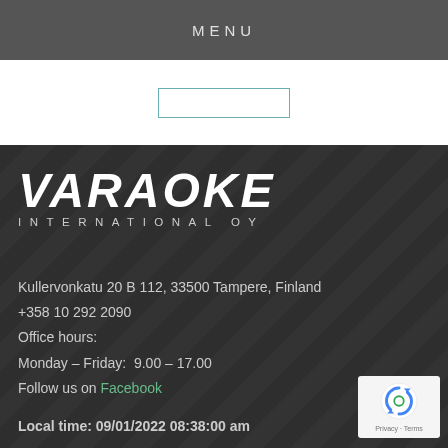MENU
[Figure (other): Search input box with teal border on white background]
[Figure (logo): Varaoke International OY logo — bold italic white text on dark background]
Kullervonkatu 20 B 112, 33500 Tampere, Finland
+358 10 292 2090
Office hours:
Monday – Friday:  9.00 – 17.00
Follow us on Facebook
Local time: 09/01/2022 08:38:00 am